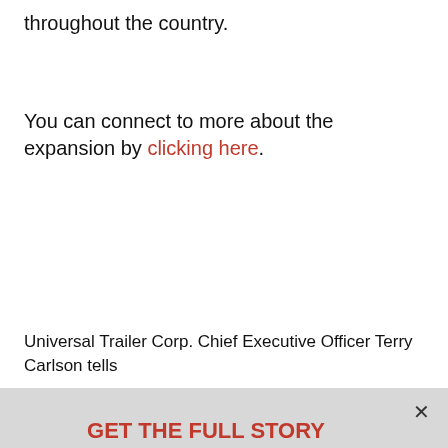throughout the country.
You can connect to more about the expansion by clicking here.
Universal Trailer Corp. Chief Executive Officer Terry Carlson tells
GET THE FULL STORY
Enjoy unlimited access to both Inside INdiana Business and IBJ with The Business News Subscription
Subscribe Now
Already a paid subscriber?
Log In